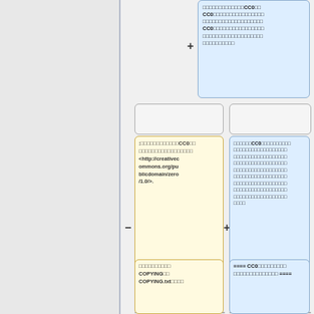CC0□□□□□□□□□□□□□□□□□□□□□□□□□□□□□□□□□□□□□□□□□□□□□□□□□CC0□□□□□□□□□□□□□□□□□□□□□□□□□□□□□□□□□□□□□□□
:□□□□□□□□□□□□CC0□□□□□□□□□□□□□□□□□□□□<http://creativecommons.org/publicdomain/zero/1.0/>.
□□□□□□CC0□□□□□□□□□□□□□□□□□□□□□□□□□□□□□□□□□□□□□□□□□□□□□□□□□□□□□□□□□□□□□□□□□□□□□□□□□□□□□□□□□□□□□□□□□□□□□□□□□□□□□□□□□□□□
□□□□□□□□□□ COPYING□□ COPYING.txt□□□□
==== CC0□□□□□□□□□□□□□□□□□□ ====